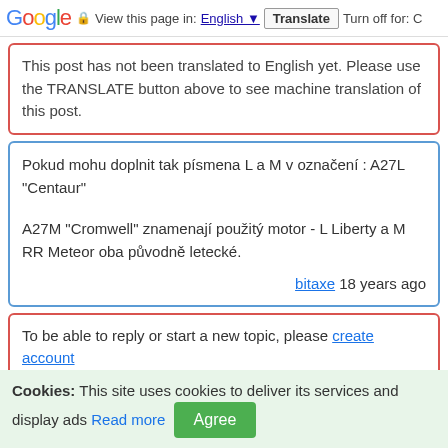Google  View this page in: English  Translate  Turn off for: C
This post has not been translated to English yet. Please use the TRANSLATE button above to see machine translation of this post.
Pokud mohu doplnit tak písmena L a M v označení : A27L "Centaur"

A27M "Cromwell" znamenají použitý motor - L Liberty a M RR Meteor oba původně letecké.

bitaxe 18 years ago
To be able to reply or start a new topic, please create account
Cookies: This site uses cookies to deliver its services and display ads Read more  Agree